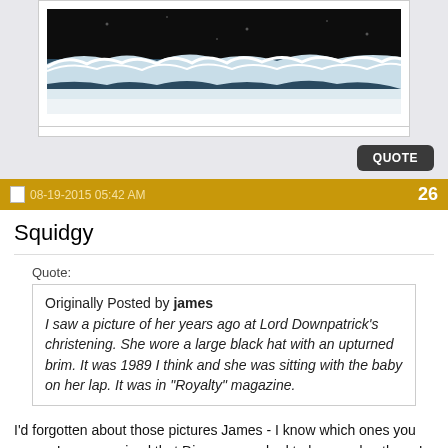[Figure (photo): Top portion of a framed photograph showing dark water/ocean wave with white foam/spray against a black background]
QUOTE
08-19-2015 05:42 AM   26
Squidgy
Quote:
Originally Posted by james
I saw a picture of her years ago at Lord Downpatrick's christening. She wore a large black hat with an upturned brim. It was 1989 I think and she was sitting with the baby on her lap. It was in "Royalty" magazine.
I'd forgotten about those pictures James - I know which ones you mean. I was surprised that Diana was asked to be a godmother - I didn't realize that she was close to the Earl of St. Andrew's.
It's hard to believe that Lord Downpatrick would be around 16 yrs old